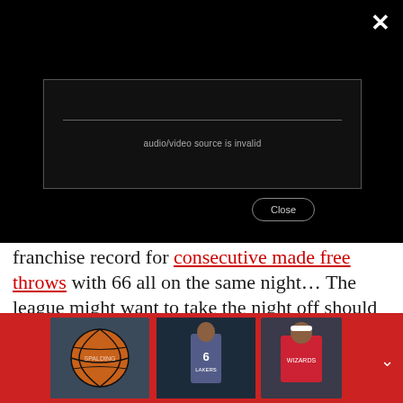[Figure (screenshot): Video player overlay with black background, an error dialog box showing 'audio/video source is invalid', a horizontal rule, and a Close button. An X dismiss button appears in the top right corner.]
franchise record for consecutive made free throws with 66 all on the same night... The league might want to take the night off should he get a good night's rest
[Figure (photo): Red banner at the bottom showing three thumbnail images: a basketball (Spalding), LeBron James in Lakers #6 jersey, and a basketball player in a Wizards jersey. A down arrow appears on the right side.]